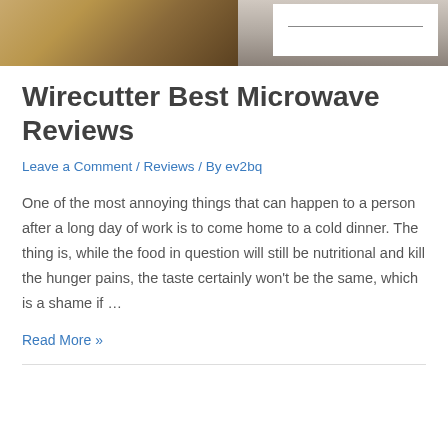[Figure (photo): A kitchen scene showing a wooden desk/table on the left and a dark cabinet on the right, with a white box overlay containing a horizontal line.]
Wirecutter Best Microwave Reviews
Leave a Comment / Reviews / By ev2bq
One of the most annoying things that can happen to a person after a long day of work is to come home to a cold dinner. The thing is, while the food in question will still be nutritional and kill the hunger pains, the taste certainly won't be the same, which is a shame if …
Read More »